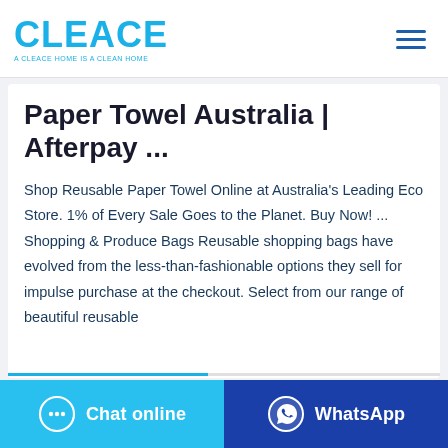CLEACE — A CLEACE HOME IS A CLEAN HOME
Paper Towel Australia | Afterpay ...
Shop Reusable Paper Towel Online at Australia's Leading Eco Store. 1% of Every Sale Goes to the Planet. Buy Now! ... Shopping & Produce Bags Reusable shopping bags have evolved from the less-than-fashionable options they sell for impulse purchase at the checkout. Select from our range of beautiful reusable
Chat online
WhatsApp